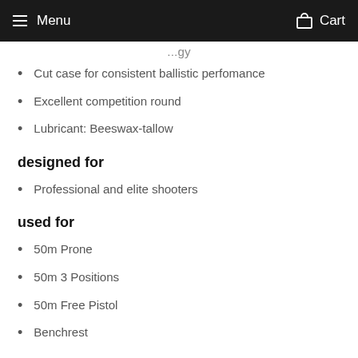Menu  Cart
Cut case for consistent ballistic perfomance
Excellent competition round
Lubricant: Beeswax-tallow
designed for
Professional and elite shooters
used for
50m Prone
50m 3 Positions
50m Free Pistol
Benchrest